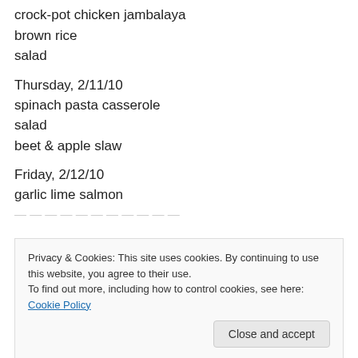crock-pot chicken jambalaya
brown rice
salad
Thursday, 2/11/10
spinach pasta casserole
salad
beet & apple slaw
Friday, 2/12/10
garlic lime salmon
Privacy & Cookies: This site uses cookies. By continuing to use this website, you agree to their use.
To find out more, including how to control cookies, see here: Cookie Policy
basic black bean soup